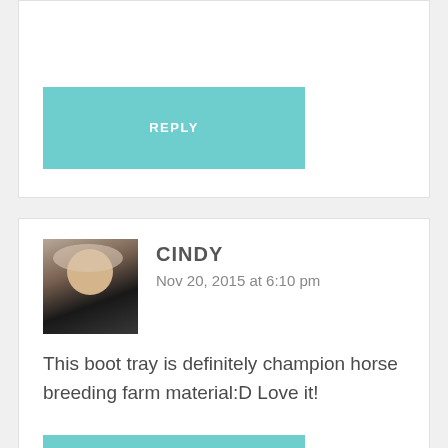[Figure (other): Reply button (teal/turquoise) from first comment box, partially visible at top of page]
CINDY
Nov 20, 2015 at 6:10 pm
This boot tray is definitely champion horse breeding farm material:D Love it!
MARY BETH
Nov 20, 2015 at 10:37 pm